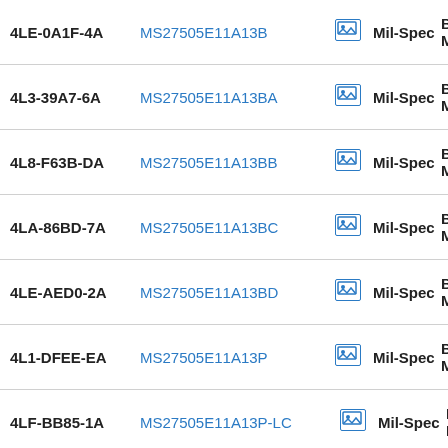| Part | MS Number |  | Spec | Type |
| --- | --- | --- | --- | --- |
| 4LE-0A1F-4A | MS27505E11A13B | [img] | Mil-Spec | Box M |
| 4L3-39A7-6A | MS27505E11A13BA | [img] | Mil-Spec | Box M |
| 4L8-F63B-DA | MS27505E11A13BB | [img] | Mil-Spec | Box M |
| 4LA-86BD-7A | MS27505E11A13BC | [img] | Mil-Spec | Box M |
| 4LE-AED0-2A | MS27505E11A13BD | [img] | Mil-Spec | Box M |
| 4L1-DFEE-EA | MS27505E11A13P | [img] | Mil-Spec | Box M |
| 4LF-BB85-1A | MS27505E11A13P-LC | [img] | Mil-Spec | Box M |
| 4L1-520F-BA | MS27505E11A13PA | [img] | Mil-Spec | Box M |